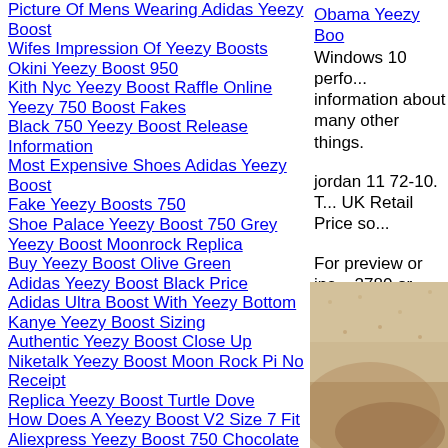Picture Of Mens Wearing Adidas Yeezy Boost
Wifes Impression Of Yeezy Boosts
Okini Yeezy Boost 950
Kith Nyc Yeezy Boost Raffle Online
Yeezy 750 Boost Fakes
Black 750 Yeezy Boost Release Information
Most Expensive Shoes Adidas Yeezy Boost
Fake Yeezy Boosts 750
Shoe Palace Yeezy Boost 750 Grey
Yeezy Boost Moonrock Replica
Buy Yeezy Boost Olive Green
Adidas Yeezy Boost Black Price
Adidas Ultra Boost With Yeezy Bottom
Kanye Yeezy Boost Sizing
Authentic Yeezy Boost Close Up
Niketalk Yeezy Boost Moon Rock Pi No Receipt
Replica Yeezy Boost Turtle Dove
How Does A Yeezy Boost V2 Size 7 Fit
Aliexpress Yeezy Boost 750 Chocolate
Obama Yeezy Boo... Windows 10 perfo... information about many other things.
jordan 11 72-10. T... UK Retail Price so...
For preview or ins... 2780 or email.. Lo... RESIDENT withi... Please note that al...
[Figure (photo): Close-up photo of a shoe sole or insole, beige/tan colored textured surface]